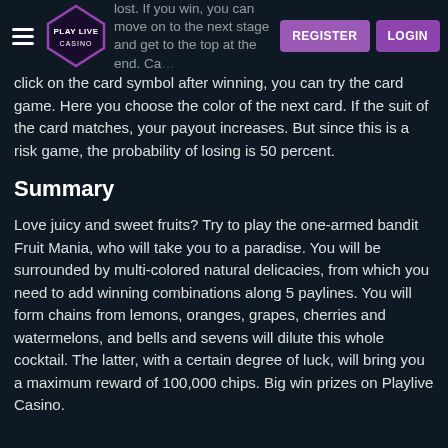Play Live Casino — REGISTER LOGIN
click on the card symbol after winning, you can try the card game. Here you choose the color of the next card. If the suit of the card matches, your payout increases. But since this is a risk game, the probability of losing is 50 percent.
Summary
Love juicy and sweet fruits? Try to play the one-armed bandit Fruit Mania, who will take you to a paradise. You will be surrounded by multi-colored natural delicacies, from which you need to add winning combinations along 5 paylines. You will form chains from lemons, oranges, grapes, cherries and watermelons, and bells and sevens will dilute this whole cocktail. The latter, with a certain degree of luck, will bring you a maximum reward of 100,000 chips. Big win prizes on Playlive Casino.